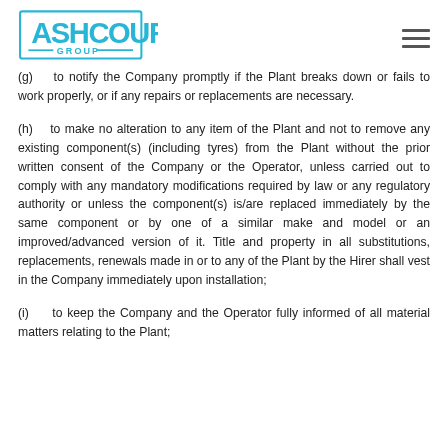Ashcourt Group logo
(g)    to notify the Company promptly if the Plant breaks down or fails to work properly, or if any repairs or replacements are necessary.
(h)    to make no alteration to any item of the Plant and not to remove any existing component(s) (including tyres) from the Plant without the prior written consent of the Company or the Operator, unless carried out to comply with any mandatory modifications required by law or any regulatory authority or unless the component(s) is/are replaced immediately by the same component or by one of a similar make and model or an improved/advanced version of it. Title and property in all substitutions, replacements, renewals made in or to any of the Plant by the Hirer shall vest in the Company immediately upon installation;
(i)    to keep the Company and the Operator fully informed of all material matters relating to the Plant;